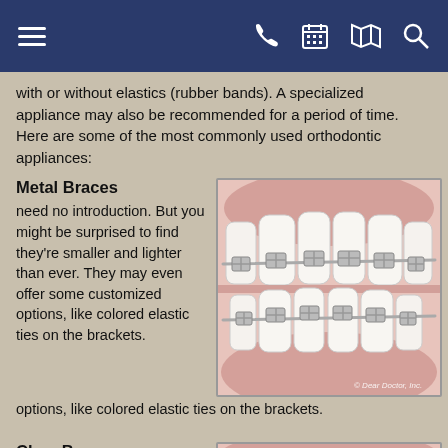[Navigation bar with menu, phone, calendar, map, and search icons]
with or without elastics (rubber bands). A specialized appliance may also be recommended for a period of time. Here are some of the most commonly used orthodontic appliances:
Metal Braces
need no introduction. But you might be surprised to find they're smaller and lighter than ever. They may even offer some customized options, like colored elastic ties on the brackets.
[Figure (illustration): Close-up dental illustration showing teeth with metal braces and brackets, upper and lower arches visible. Watermark: © Dear Doctor, Inc.]
Clear Braces
feature brackets made of
[Figure (illustration): Close-up dental illustration showing teeth with clear braces, upper arch visible, gum tissue visible.]